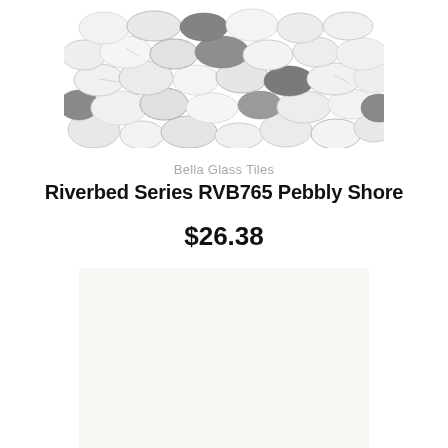[Figure (photo): Top portion of a pebble mosaic tile in white/grey marble colors — Riverbed Series RVB765 Pebbly Shore]
Bella Glass Tiles
Riverbed Series RVB765 Pebbly Shore
$26.38
[Figure (photo): White hexagonal mosaic tile sheet — small hexagon tiles in off-white/cream color with light grey grout lines]